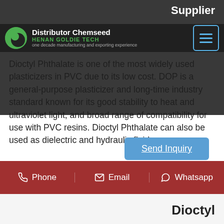Supplier
Distributor Chemseed | HENAN GOLDIE TECH | one decade manufacturing and exporting experience
Dioctyl Phthalate is one of the most widely used plasticizers in PVC due to its low cost. DOP is a general-purpose plasticizer and long-time industry standard known for its good stability to heat and ultraviolet light, and broad range of compatibility for use with PVC resins. Dioctyl Phthalate can also be used as dielectric and hydraulic fluids.
Send Inquiry
Phone  Email  Whatsapp
Dioctyl